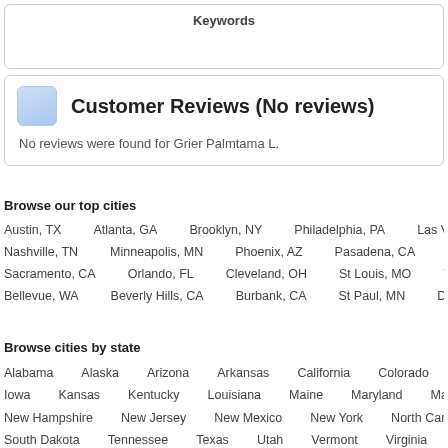Keywords
Customer Reviews (No reviews)
No reviews were found for Grier Palmtama L.
Browse our top cities
Austin, TX   Atlanta, GA   Brooklyn, NY   Philadelphia, PA   Las Vegas, NV   San Die…   Nashville, TN   Minneapolis, MN   Phoenix, AZ   Pasadena, CA   Charlotte, NC   San…   Sacramento, CA   Orlando, FL   Cleveland, OH   St Louis, MO   Tucson, AZ   Indiana…   Bellevue, WA   Beverly Hills, CA   Burbank, CA   St Paul, MN   Durham, NC   Scottsc…
Browse cities by state
Alabama   Alaska   Arizona   Arkansas   California   Colorado   Connecticut   D…   Iowa   Kansas   Kentucky   Louisiana   Maine   Maryland   Massachusetts   Mic…   New Hampshire   New Jersey   New Mexico   New York   North Carolina   North Dak…   South Dakota   Tennessee   Texas   Utah   Vermont   Virginia   Washington   W…